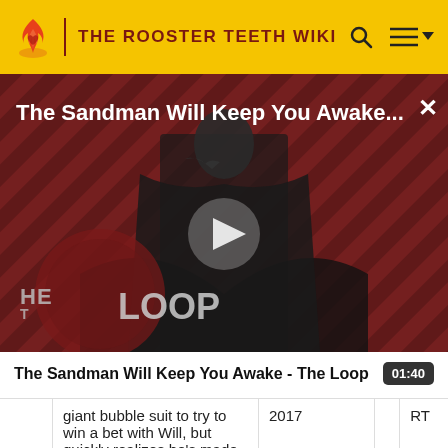THE ROOSTER TEETH WIKI
[Figure (screenshot): Video thumbnail for 'The Sandman Will Keep You Awake - The Loop' showing a man in black cape on a striped red/dark background with 'THE LOOP' logo overlay and a play button in the center. Video title shown as overlay text at top.]
The Sandman Will Keep You Awake - The Loop
|  | giant bubble suit to try to win a bet with Will, but quickly realizes he's made a | 2017 | RT |